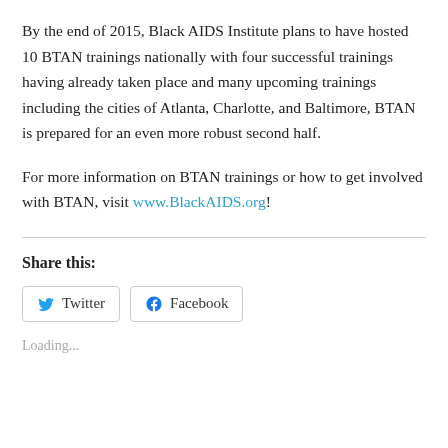By the end of 2015, Black AIDS Institute plans to have hosted 10 BTAN trainings nationally with four successful trainings having already taken place and many upcoming trainings including the cities of Atlanta, Charlotte, and Baltimore, BTAN is prepared for an even more robust second half.
For more information on BTAN trainings or how to get involved with BTAN, visit www.BlackAIDS.org!
Share this:
Twitter  Facebook
Loading...